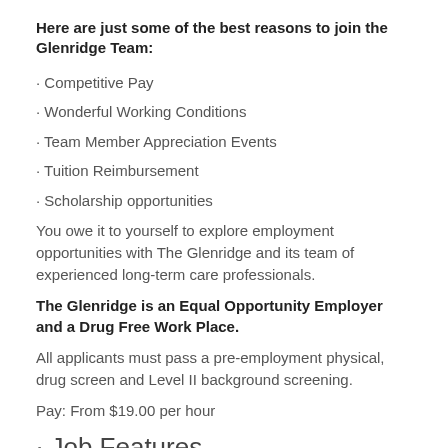Here are just some of the best reasons to join the Glenridge Team:
· Competitive Pay
· Wonderful Working Conditions
· Team Member Appreciation Events
· Tuition Reimbursement
· Scholarship opportunities
You owe it to yourself to explore employment opportunities with The Glenridge and its team of experienced long-term care professionals.
The Glenridge is an Equal Opportunity Employer and a Drug Free Work Place.
All applicants must pass a pre-employment physical, drug screen and Level II background screening.
Pay: From $19.00 per hour
· Job Features